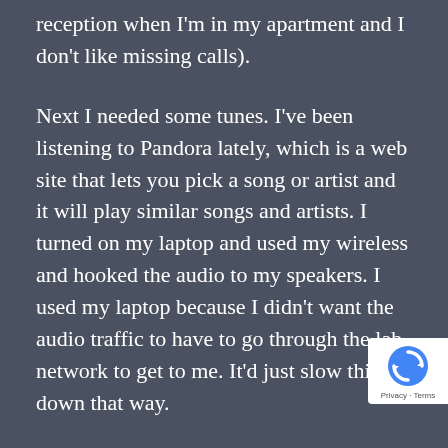reception when I'm in my apartment and I don't like missing calls).
Next I needed some tunes. I've been listening to Pandora lately, which is a web site that lets you pick a song or artist and it will play similar songs and artists. I turned on my laptop and used my wireless and hooked the audio to my speakers. I used my laptop because I didn't want the audio traffic to have to go through the lab network to get to me. It'd just slow things down that way.
Finally, the project I'm on right now requires writing software for a mobile phone, which sitting in my office. Fortunately, it was plugged
[Figure (logo): reCAPTCHA badge with icon and Privacy - Terms text]